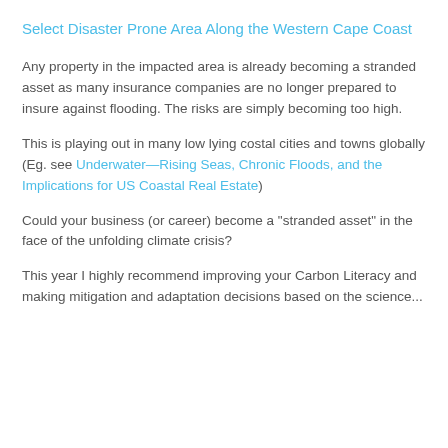Select Disaster Prone Area Along the Western Cape Coast
Any property in the impacted area is already becoming a stranded asset as many insurance companies are no longer prepared to insure against flooding. The risks are simply becoming too high.
This is playing out in many low lying costal cities and towns globally (Eg. see Underwater—Rising Seas, Chronic Floods, and the Implications for US Coastal Real Estate)
Could your business (or career) become a "stranded asset" in the face of the unfolding climate crisis?
This year I highly recommend improving your Carbon Literacy and making mitigation and adaptation decisions based on the science...